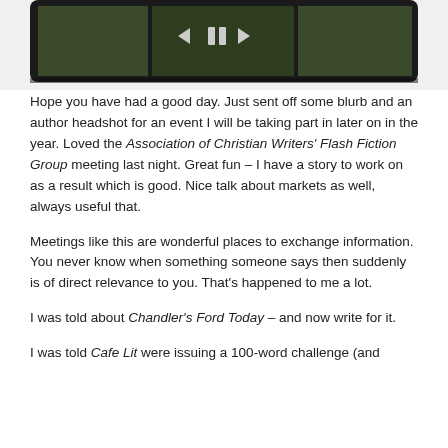[Figure (screenshot): A tablet or phone screen showing a dark video player interface with navigation arrows and a pause button, displaying a grassy outdoor scene.]
Hope you have had a good day. Just sent off some blurb and an author headshot for an event I will be taking part in later on in the year. Loved the Association of Christian Writers' Flash Fiction Group meeting last night. Great fun – I have a story to work on as a result which is good. Nice talk about markets as well, always useful that.
Meetings like this are wonderful places to exchange information. You never know when something someone says then suddenly is of direct relevance to you. That's happened to me a lot.
I was told about Chandler's Ford Today – and now write for it.
I was told Cafe Lit were issuing a 100-word challenge (and